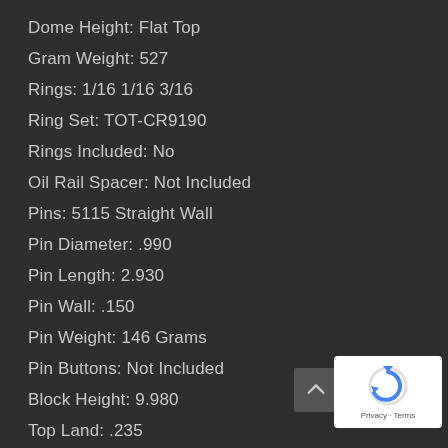Dome Height: Flat Top
Gram Weight: 527
Rings: 1/16 1/16 3/16
Ring Set: TOT-CR9190
Rings Included: No
Oil Rail Spacer: Not Included
Pins: 5115 Straight Wall
Pin Diameter: .990
Pin Length: 2.930
Pin Wall: .150
Pin Weight: 146 Grams
Pin Buttons: Not Included
Block Height: 9.980
Top Land: .235
Second Land: .125
Third Land: .078